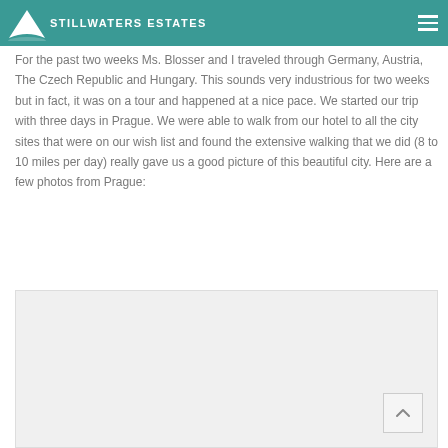STILLWATERS ESTATES
For the past two weeks Ms. Blosser and I traveled through Germany, Austria, The Czech Republic and Hungary.  This sounds very industrious for two weeks but in fact, it was on a tour and happened at a nice pace.  We started our trip with three days in Prague.  We were able to walk from our hotel to all the city sites that were on our wish list and found the extensive walking that we did (8 to 10 miles per day) really gave us a good picture of this beautiful city.  Here are a few photos from Prague:
[Figure (photo): Placeholder photo area showing photos from Prague, light gray background]